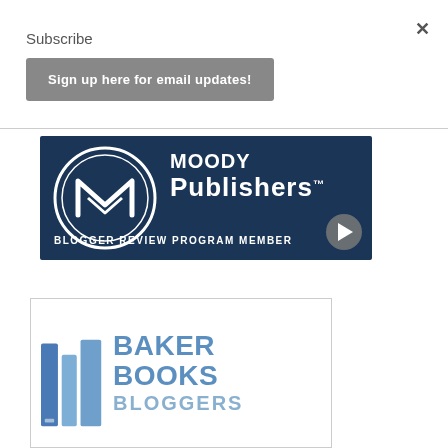×
Subscribe
Sign up here for email updates!
[Figure (logo): Moody Publishers logo with circular M emblem, text 'MOODY Publishers™' and 'BLOGGER REVIEW PROGRAM MEMBER' on dark navy background, with a play button in the bottom right corner.]
[Figure (logo): Baker Books Bloggers logo showing stacked books icon in steel blue and the text 'BAKER BOOKS BLOGGERS' in blue tones inside a white box with thin border.]